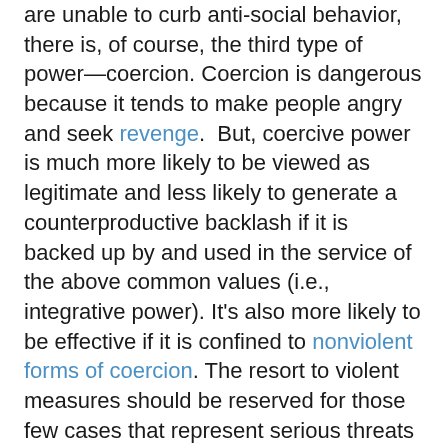are unable to curb anti-social behavior, there is, of course, the third type of power—coercion. Coercion is dangerous because it tends to make people angry and seek revenge.  But, coercive power is much more likely to be viewed as legitimate and less likely to generate a counterproductive backlash if it is backed up by and used in the service of the above common values (i.e., integrative power). It's also more likely to be effective if it is confined to nonviolent forms of coercion. The resort to violent measures should be reserved for those few cases that represent serious threats to the community and where other forms of power—including nonviolent coercion—have proven to be ineffective.
A good example of how all three forms of